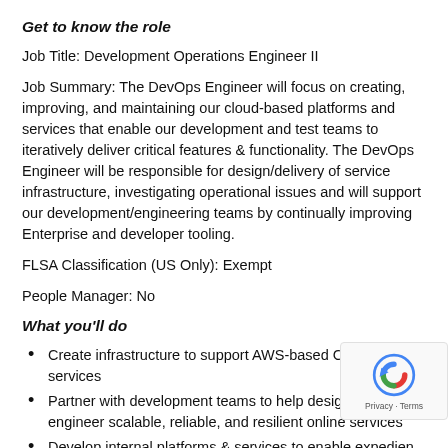Get to know the role
Job Title: Development Operations Engineer II
Job Summary: The DevOps Engineer will focus on creating, improving, and maintaining our cloud-based platforms and services that enable our development and test teams to iteratively deliver critical features & functionality. The DevOps Engineer will be responsible for design/delivery of service infrastructure, investigating operational issues and will support our development/engineering teams by continually improving Enterprise and developer tooling.
FLSA Classification (US Only): Exempt
People Manager: No
What you'll do
Create infrastructure to support AWS-based Cloud services
Partner with development teams to help design and engineer scalable, reliable, and resilient online services
Develop internal platforms & services to enable expedient self-service for our development teams
Manage release branches as well as maintains the build process to